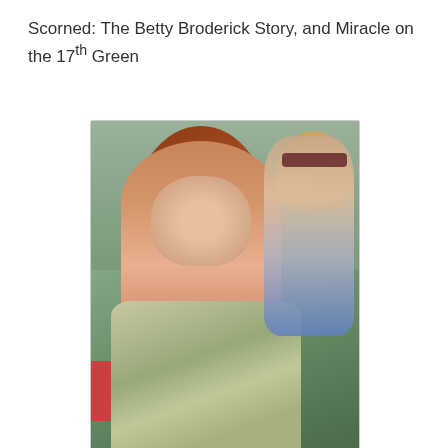Scorned: The Betty Broderick Story, and Miracle on the 17th Green
[Figure (photo): A woman with red/auburn hair wearing a sparkly beaded dress, photographed at what appears to be a formal event or red carpet. Another woman wearing sunglasses is visible in the background.]